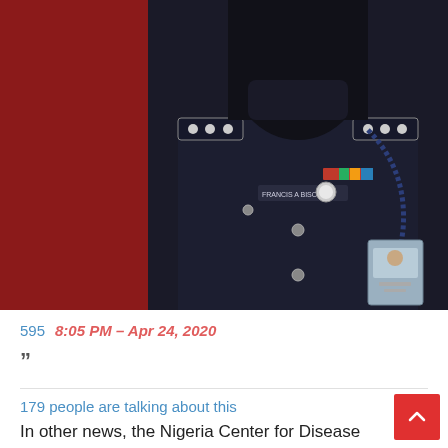[Figure (photo): A police officer in dark navy uniform with name tag, badges, medals, and an ID lanyard. The photo shows the torso/chest area. The name tag reads 'FRANCIS A BISONG'.]
595   8:05 PM – Apr 24, 2020
””
179 people are talking about this
In other news, the Nigeria Center for Disease Control (NCDC) says it has recorded 114 new